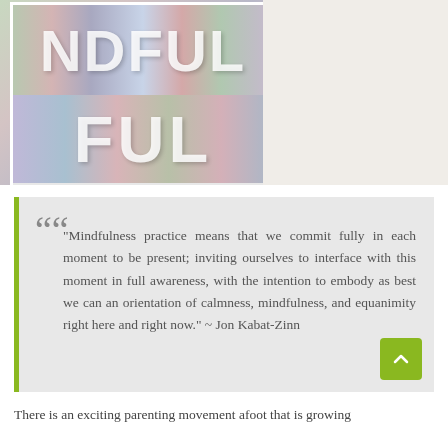[Figure (photo): Photo of a book or display showing the letters 'NDFUL' on top and 'FUL' on the bottom, made from colorful fabric or clothing items arranged behind letter cutouts. The right side shows a plain light-colored surface.]
“Mindfulness practice means that we commit fully in each moment to be present; inviting ourselves to interface with this moment in full awareness, with the intention to embody as best we can an orientation of calmness, mindfulness, and equanimity right here and right now.” ~ Jon Kabat-Zinn
There is an exciting parenting movement afoot that is growing